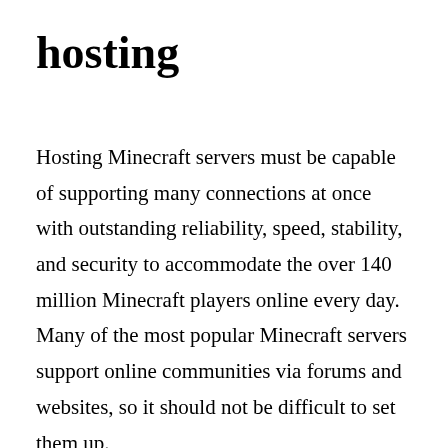hosting
Hosting Minecraft servers must be capable of supporting many connections at once with outstanding reliability, speed, stability, and security to accommodate the over 140 million Minecraft players online every day. Many of the most popular Minecraft servers support online communities via forums and websites, so it should not be difficult to set them up.